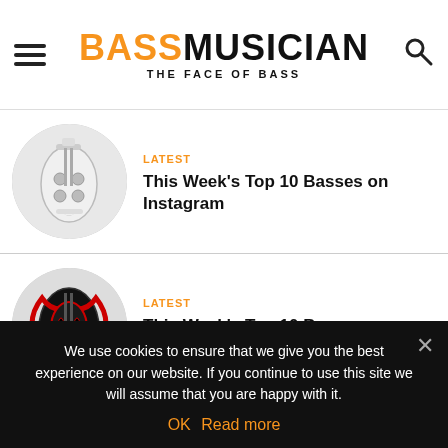BASS MUSICIAN — THE FACE OF BASS
[Figure (photo): Circular thumbnail of a white electric bass guitar]
LATEST
This Week's Top 10 Basses on Instagram
[Figure (photo): Circular thumbnail of a red and black electric bass guitar]
LATEST
This Week's Top 10 Basses on Instagram
[Figure (photo): Circular thumbnail of a green bass guitar]
LATEST
This Week's Top 10 Basses on Instagram
We use cookies to ensure that we give you the best experience on our website. If you continue to use this site we will assume that you are happy with it.
OK   Read more